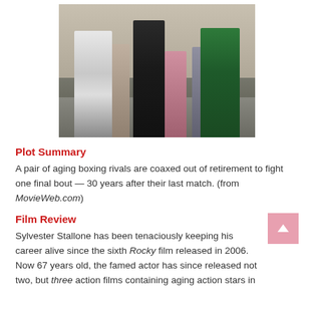[Figure (photo): Group of people in boxing robes standing together. Two fighters in white robes on the left and a fighter in a green robe on the right, with a referee/trainer in black in the center, and additional entourage members behind them in what appears to be a corridor or backstage area.]
Plot Summary
A pair of aging boxing rivals are coaxed out of retirement to fight one final bout — 30 years after their last match. (from MovieWeb.com)
Film Review
Sylvester Stallone has been tenaciously keeping his career alive since the sixth Rocky film released in 2006. Now 67 years old, the famed actor has since released not two, but three action films containing aging action stars in